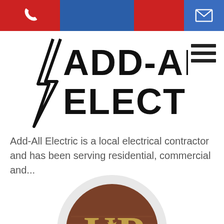Navigation bar with phone and email icons
[Figure (logo): Add-All Electric company logo with lightning bolt styling, bold black text reading ADD-ALL ELECTRIC]
Add-All Electric is a local electrical contractor and has been serving residential, commercial and...
[Figure (logo): Circular logo with brown wood-grain background and gold UP letters with a maple leaf, set inside a light grey outer ring]